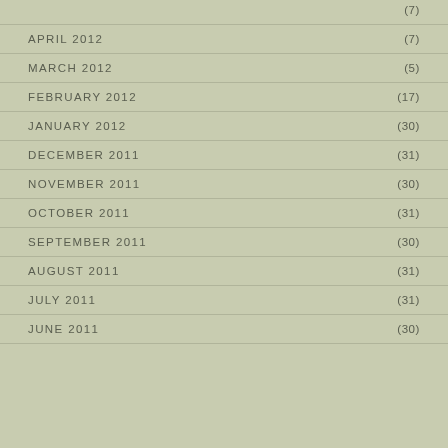APRIL 2012 (7)
MARCH 2012 (5)
FEBRUARY 2012 (17)
JANUARY 2012 (30)
DECEMBER 2011 (31)
NOVEMBER 2011 (30)
OCTOBER 2011 (31)
SEPTEMBER 2011 (30)
AUGUST 2011 (31)
JULY 2011 (31)
JUNE 2011 (30)